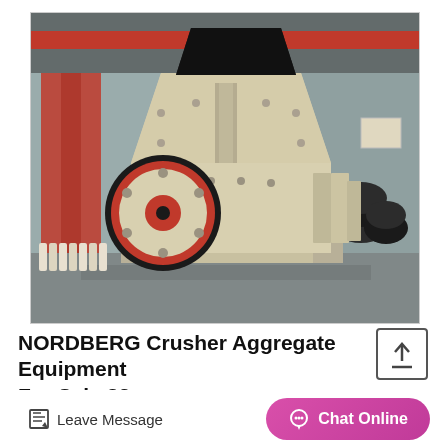[Figure (photo): Industrial impact crusher / aggregate equipment machine in a factory setting. The machine is large, cream/off-white colored with a prominent red and black flywheel on the left side. The factory background shows red overhead cranes, stacked tires, and concrete flooring.]
NORDBERG Crusher Aggregate Equipment For Sale 32
Leave Message
Chat Online